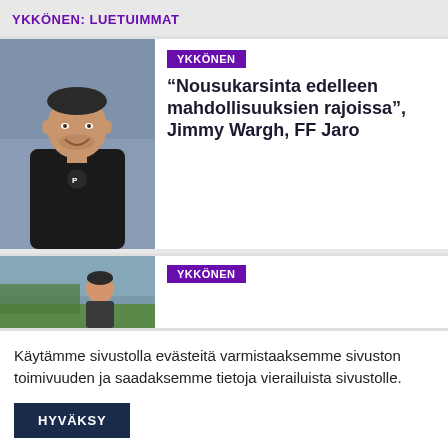YKKÖNEN: LUETUIMMAT
[Figure (photo): A smiling man in a black Puma jacket, appears to be a football coach, standing outdoors]
YKKÖNEN
“Nousukarsinta edelleen mahdollisuuksien rajoissa”, Jimmy Wargh, FF Jaro
[Figure (photo): A man standing outdoors, partially visible, second article thumbnail]
YKKÖNEN
Käytämme sivustolla evästeitä varmistaaksemme sivuston toimivuuden ja saadaksemme tietoja vierailuista sivustolle.
HYVÄKSY